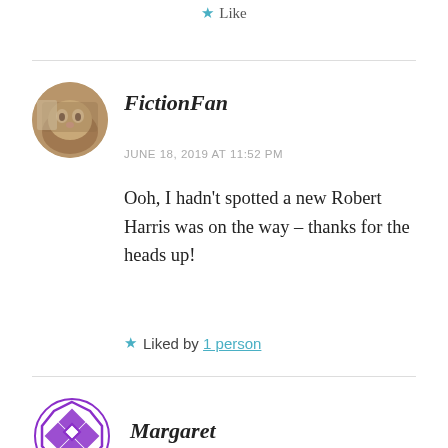★ Like
FictionFan
JUNE 18, 2019 AT 11:52 PM
Ooh, I hadn't spotted a new Robert Harris was on the way – thanks for the heads up!
★ Liked by 1 person
Margaret